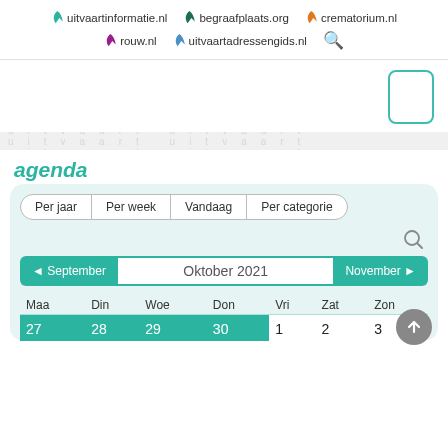uitvaartinformatie.nl  begraafplaats.org  crematorium.nl  rouw.nl  uitvaartadressengids.nl
[Figure (screenshot): Rounded rectangle box outline in teal color, positioned top right, likely an ad placeholder]
[Figure (other): Watermark/background strip with faded repeated logo text]
agenda
[Figure (other): Calendar widget showing Oktober 2021 with navigation buttons September and November, filter tabs Per jaar / Per week / Vandaag / Per categorie, search icon, and calendar grid showing days Maa Din Woe Don Vri Zat Zon with first row 27 28 29 30 1 2 3]